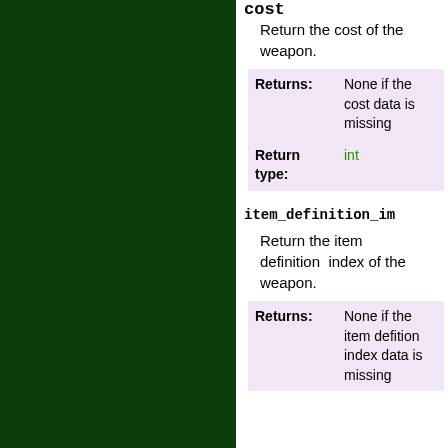cost
Return the cost of the weapon.
|  |  |
| --- | --- |
| Returns: | None if the cost data is missing |
| Return type: | int |
item_definition_in...
Return the item definition index of the weapon.
|  |  |
| --- | --- |
| Returns: | None if the item defition index data is missing |